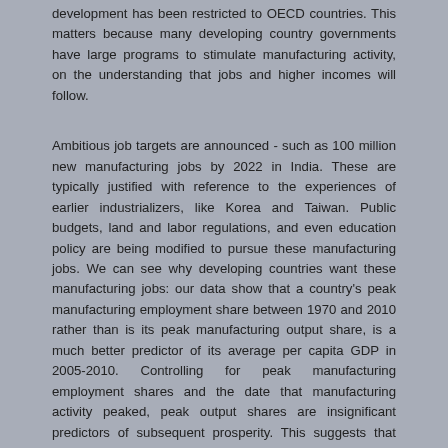development has been restricted to OECD countries. This matters because many developing country governments have large programs to stimulate manufacturing activity, on the understanding that jobs and higher incomes will follow.
Ambitious job targets are announced - such as 100 million new manufacturing jobs by 2022 in India. These are typically justified with reference to the experiences of earlier industrializers, like Korea and Taiwan. Public budgets, land and labor regulations, and even education policy are being modified to pursue these manufacturing jobs. We can see why developing countries want these manufacturing jobs: our data show that a country's peak manufacturing employment share between 1970 and 2010 rather than is its peak manufacturing output share, is a much better predictor of its average per capita GDP in 2005-2010. Controlling for peak manufacturing employment shares and the date that manufacturing activity peaked, peak output shares are insignificant predictors of subsequent prosperity. This suggests that manufacturing output matters for prosperity only insofar as it comes with jobs. Moreover, we show that every country that is rich today has at